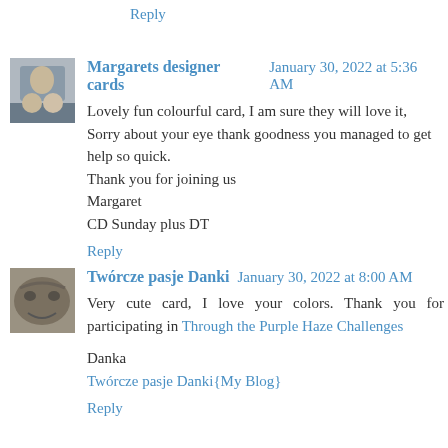Reply
Margarets designer cards  January 30, 2022 at 5:36 AM
Lovely fun colourful card, I am sure they will love it, Sorry about your eye thank goodness you managed to get help so quick.
Thank you for joining us
Margaret
CD Sunday plus DT
Reply
Twórcze pasje Danki  January 30, 2022 at 8:00 AM
Very cute card, I love your colors. Thank you for participating in Through the Purple Haze Challenges

Danka
Twórcze pasje Danki{My Blog}
Reply